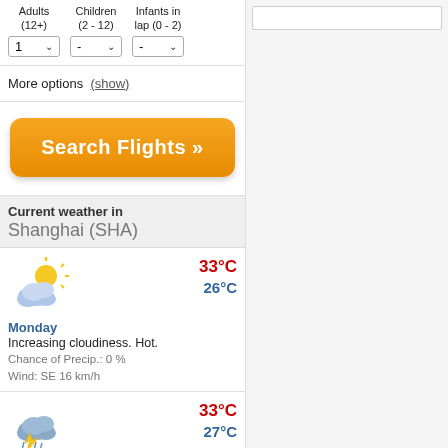Adults (12+): 1, Children (2 - 12): -, Infants in lap (0 - 2): -
More options (show)
Search Flights »
Current weather in Shanghai (SHA)
Monday
Increasing cloudiness. Hot.
Chance of Precip.: 0 %
Wind: SE 16 km/h
33°C / 26°C
Tuesday
Thunderstorms. Cloudy. Hot.
Chance of Precip.: 66 %
Wind: WNW 15 km/h
33°C / 27°C